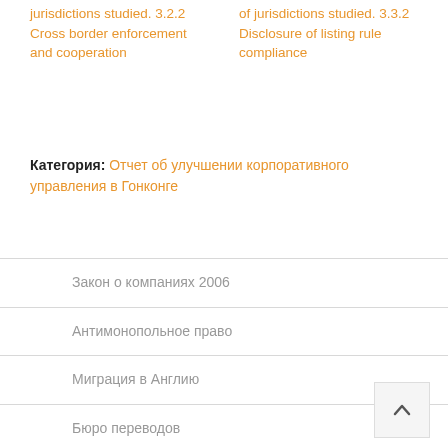jurisdictions studied. 3.2.2 Cross border enforcement and cooperation
of jurisdictions studied. 3.3.2 Disclosure of listing rule compliance
Категория: Отчет об улучшении корпоративного управления в Гонконге
Закон о компаниях 2006
Антимонопольное право
Миграция в Англию
Бюро переводов
Противодействие отмыванию